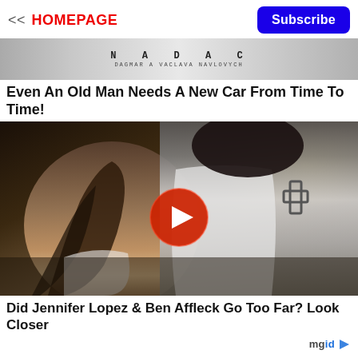<< HOMEPAGE  Subscribe
[Figure (photo): Advertisement banner with text NADAC DAGMAR A VACLAVA NAVLOVYCH on gray background]
Even An Old Man Needs A New Car From Time To Time!
[Figure (photo): Video thumbnail showing two people in an intimate scene, one with a cross tattoo, with a YouTube-style red play button overlay]
Did Jennifer Lopez & Ben Affleck Go Too Far? Look Closer
mgid